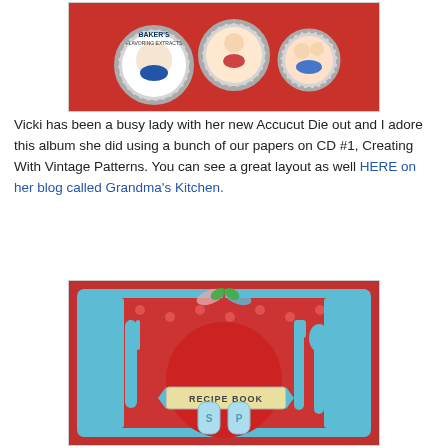[Figure (photo): Photo of vintage-style bottlecap decorations on a red background, showing decorative bottle caps with retro 1950s imagery including a woman with Baker's Flavoring Extracts label.]
Vicki has been a busy lady with her new Accucut Die out and I adore this album she did using a bunch of our papers on CD #1, Creating With Vintage Patterns. You can see a great layout as well HERE on her blog called Grandma's Kitchen.
[Figure (photo): Photo of a handmade scrapbook/craft project recipe book with a kitchen theme, featuring teal/blue utensils (fork, knife, spoon), a red polka-dot background, a large red circle in the center, salt and pepper shakers labeled S and P, a banner reading 'RECIPE BOOK', and decorative ribbon and bow at the top. Blue scalloped border frame.]